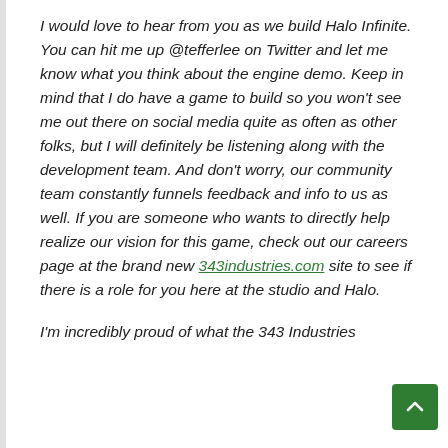I would love to hear from you as we build Halo Infinite. You can hit me up @tefferlee on Twitter and let me know what you think about the engine demo. Keep in mind that I do have a game to build so you won't see me out there on social media quite as often as other folks, but I will definitely be listening along with the development team. And don't worry, our community team constantly funnels feedback and info to us as well. If you are someone who wants to directly help realize our vision for this game, check out our careers page at the brand new 343industries.com site to see if there is a role for you here at the studio and Halo.
I'm incredibly proud of what the 343 Industries